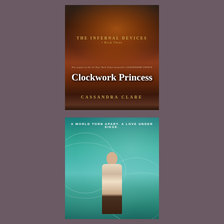[Figure (photo): Book cover of 'Clockwork Princess' by Cassandra Clare. Part of 'The Infernal Devices' series, Book Three. Dark fantasy cover featuring a figure in a red/maroon dress with flames and a burning winged creature. Text reads: 'THE INFERNAL DEVICES • Book Three', 'The sequel to the #1 New York Times bestseller CLOCKWORK PRINCE', 'Clockwork Princess', 'CASSANDRA CLARE'.]
[Figure (photo): Book cover (bottom portion) with teal/turquoise background featuring swirling designs and a standing male figure. Tagline reads: 'A WORLD TORN APART. A LOVE UNDER SIEGE.']